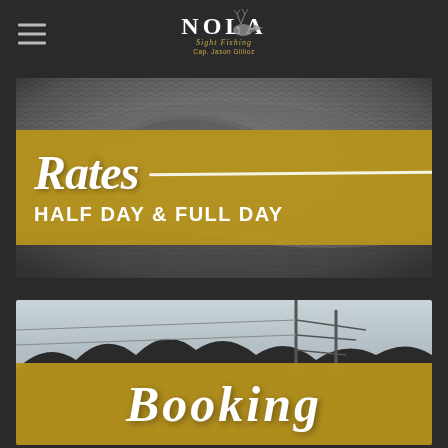NOLA Sight Fishing - Cap. Jason Gilliioz
[Figure (photo): Black and white close-up photo of a fish with gold banner overlay reading 'Rates HALF DAY & FULL DAY']
[Figure (photo): Black and white outdoor photo with gold banner overlay reading 'Booking']